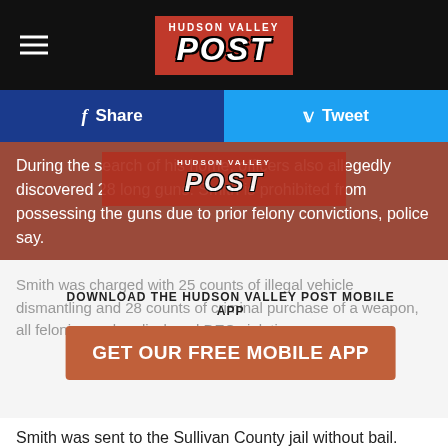HUDSON VALLEY POST
Share   Tweet
During the search of his home, officers also allegedly discovered 28 long guns. Smith is prohibited from possessing the guns due to prior felony convictions, police say.
DOWNLOAD THE HUDSON VALLEY POST MOBILE APP
GET OUR FREE MOBILE APP
Smith was charged with 25 counts of illegal vehicle dismantling and 28 counts of criminal purchase of a weapon, all felonies and undisclosed DEC violations.
Smith was sent to the Sullivan County jail without bail.
TOP 5 WORST PLACES TO LIVE IN NEW